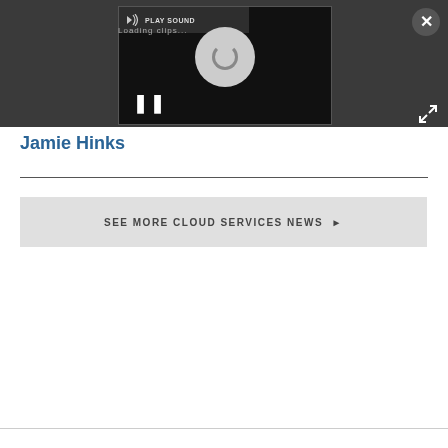[Figure (screenshot): Dark media player overlay with PLAY SOUND button, loading spinner, pause button, and close/expand controls]
Jamie Hinks
SEE MORE CLOUD SERVICES NEWS ▶